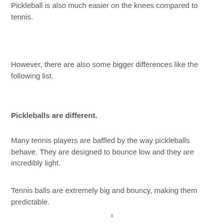Pickleball is also much easier on the knees compared to tennis.
However, there are also some bigger differences like the following list.
Pickleballs are different.
Many tennis players are baffled by the way pickleballs behave. They are designed to bounce low and they are incredibly light.
Tennis balls are extremely big and bouncy, making them predictable.
Players expect the bounciness of a tennis ball because it has
x